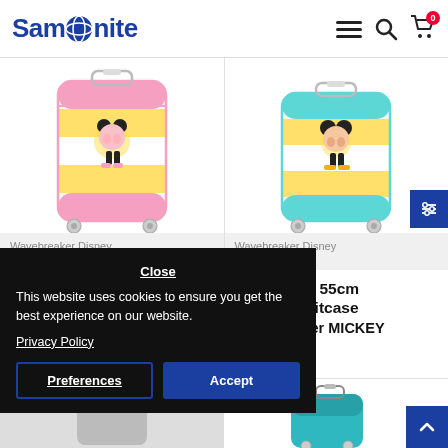Samsonite
[Figure (screenshot): Left product image: Wavebreaker Disney AT 4-wheel 55cm Spinner suitcase with pink and yellow Minnie Mouse print]
Wavebreaker Disney
31C.80.001
AT 4-wheel 55cm
Spinner suitcase
[Figure (screenshot): Right product image: Wavebreaker Disney AT 4-wheel 55cm Spinner suitcase with teal and yellow Mickey Mouse print]
Wavebreaker Disney
31C.31.001
AT 4-wheel 55cm
Spinner suitcase
Wavebreaker MICKEY
KISS
0 лв.
This website uses cookies to ensure you get the best experience on our website.
Privacy Policy
Close
Preferences
Accept